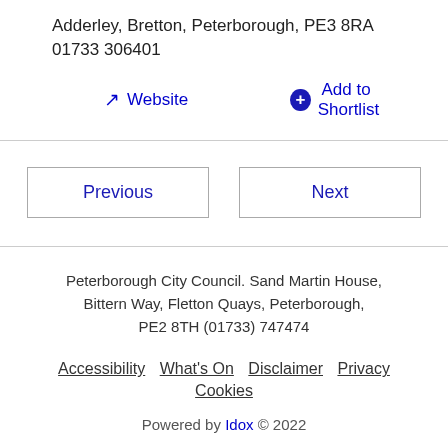Adderley, Bretton, Peterborough, PE3 8RA
01733 306401
Website   Add to Shortlist
Previous   Next
Peterborough City Council. Sand Martin House, Bittern Way, Fletton Quays, Peterborough, PE2 8TH (01733) 747474
Accessibility  What's On  Disclaimer  Privacy  Cookies
Powered by Idox © 2022